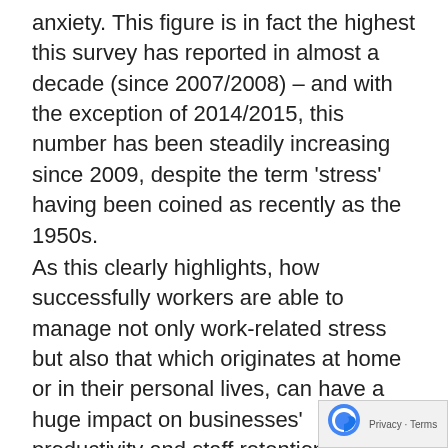anxiety. This figure is in fact the highest this survey has reported in almost a decade (since 2007/2008) – and with the exception of 2014/2015, this number has been steadily increasing since 2009, despite the term 'stress' having been coined as recently as the 1950s.
As this clearly highlights, how successfully workers are able to manage not only work-related stress but also that which originates at home or in their personal lives, can have a huge impact on businesses' productivity and staff retention – and in turn, profitability and stability. The management of it is something that should be on the agendas of C-suite level discussions around the country. In order to assess the scale of the problem in 2018 and provide some guidance for employers looking to identify those workers most at risk of unhealthy levels of stress, we surveyed more than 3,000 British workers aged 18+**, in order to provide a true